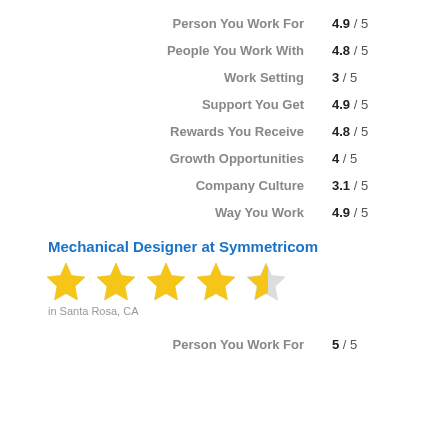Person You Work For  4.9 / 5
People You Work With  4.8 / 5
Work Setting  3 / 5
Support You Get  4.9 / 5
Rewards You Receive  4.8 / 5
Growth Opportunities  4 / 5
Company Culture  3.1 / 5
Way You Work  4.9 / 5
Mechanical Designer at Symmetricom
[Figure (other): 4.5 out of 5 stars rating (five gold stars, last one half-filled)]
in Santa Rosa, CA
Person You Work For  5 / 5